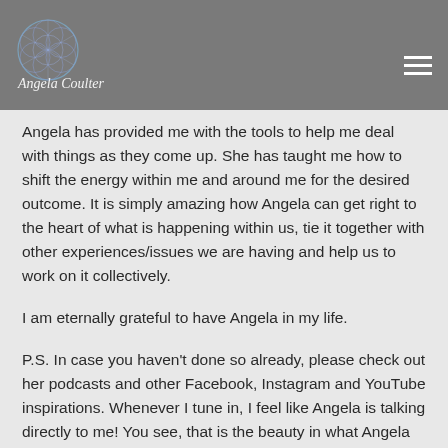[Figure (logo): Angela Coulter logo with geometric mandala/flower of life design in blue/purple tones and cursive 'Angela Coulter' text overlay]
Angela has provided me with the tools to help me deal with things as they come up.  She has taught me how to shift the energy within me and around me for the desired outcome.  It is simply amazing how Angela can get right to the heart of what is happening within us, tie it together with other experiences/issues we are having and help us to work on it collectively.

I am eternally grateful to have Angela in my life.

P.S. In case you haven't done so already, please check out her podcasts and other Facebook, Instagram and YouTube inspirations.  Whenever I tune in, I feel like Angela is talking directly to me!  You see, that is the beauty in what Angela does.  She is aware of what is happening in the collective universe and she speaks to our souls through her recordings.